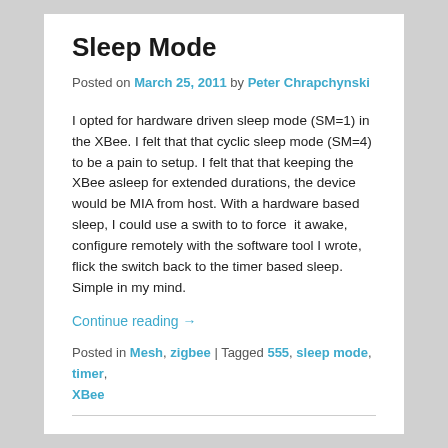Sleep Mode
Posted on March 25, 2011 by Peter Chrapchynski
I opted for hardware driven sleep mode (SM=1) in the XBee. I felt that that cyclic sleep mode (SM=4) to be a pain to setup. I felt that that keeping the XBee asleep for extended durations, the device would be MIA from host. With a hardware based sleep, I could use a swith to to force  it awake, configure remotely with the software tool I wrote, flick the switch back to the timer based sleep. Simple in my mind.
Continue reading →
Posted in Mesh, zigbee | Tagged 555, sleep mode, timer, XBee